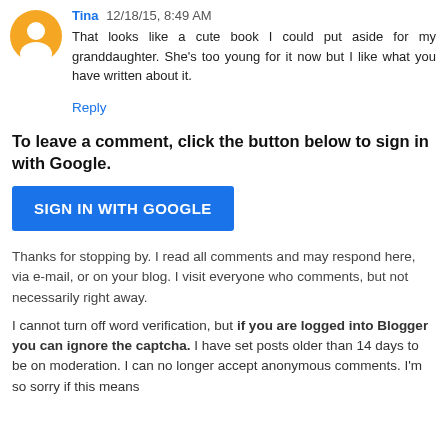[Figure (illustration): Orange circular Blogger avatar icon with white person silhouette]
Tina 12/18/15, 8:49 AM
That looks like a cute book I could put aside for my granddaughter. She's too young for it now but I like what you have written about it.
Reply
To leave a comment, click the button below to sign in with Google.
SIGN IN WITH GOOGLE
Thanks for stopping by. I read all comments and may respond here, via e-mail, or on your blog. I visit everyone who comments, but not necessarily right away.
I cannot turn off word verification, but if you are logged into Blogger you can ignore the captcha. I have set posts older than 14 days to be on moderation. I can no longer accept anonymous comments. I'm so sorry if this means